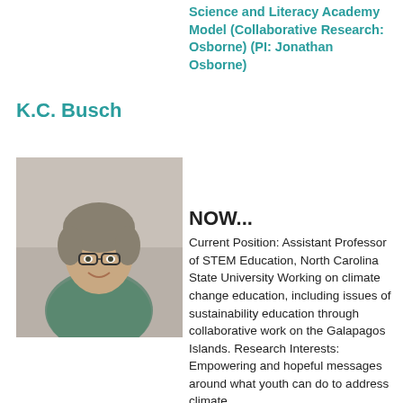Science and Literacy Academy Model (Collaborative Research: Osborne) (PI: Jonathan Osborne)
K.C. Busch
[Figure (photo): Headshot photo of K.C. Busch, a woman with short gray-brown hair and glasses, smiling, wearing a patterned blouse.]
NOW...
Current Position: Assistant Professor of STEM Education, North Carolina State University Working on climate change education, including issues of sustainability education through collaborative work on the Galapagos Islands. Research Interests: Empowering and hopeful messages around what youth can do to address climate